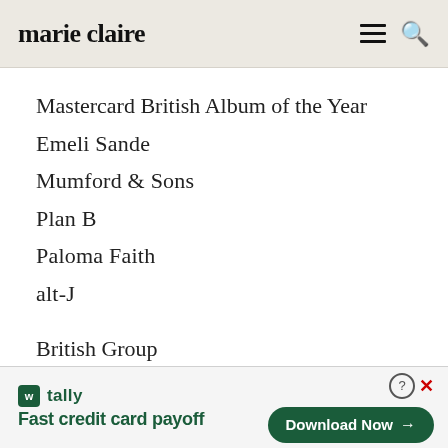marie claire
Mastercard British Album of the Year
Emeli Sande
Mumford & Sons
Plan B
Paloma Faith
alt-J
British Group
[Figure (other): Tally app advertisement banner: 'Fast credit card payoff' with Download Now button]